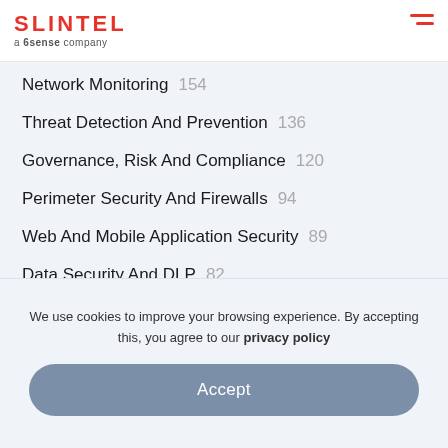SLINTEL a 6sense company
Network Monitoring 154
Threat Detection And Prevention 136
Governance, Risk And Compliance 120
Perimeter Security And Firewalls 94
Web And Mobile Application Security 89
Data Security And DLP 82
Cloud Security 94
Endpoint Security 75
We use cookies to improve your browsing experience. By accepting this, you agree to our privacy policy
Accept